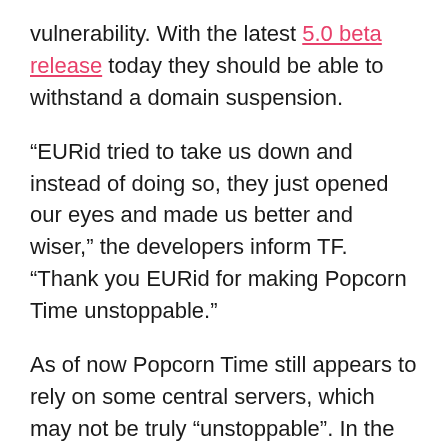vulnerability. With the latest 5.0 beta release today they should be able to withstand a domain suspension.
“EURid tried to take us down and instead of doing so, they just opened our eyes and made us better and wiser,” the developers inform TF. “Thank you EURid for making Popcorn Time unstoppable.”
As of now Popcorn Time still appears to rely on some central servers, which may not be truly “unstoppable”. In the future, however, the fork hopes to distribute all data via P2P transfers.
“We’ve built the 5.0 beta so that no one will be able